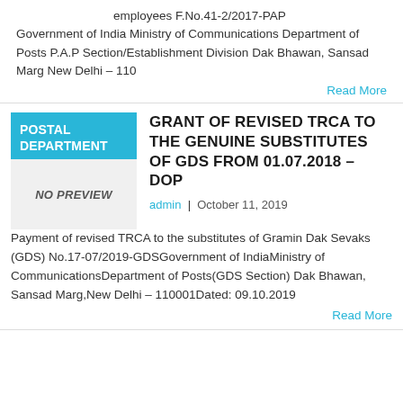employees F.No.41-2/2017-PAP Government of India Ministry of Communications Department of Posts P.A.P Section/Establishment Division Dak Bhawan, Sansad Marg New Delhi – 110
Read More
[Figure (other): Postal Department thumbnail with cyan header and NO PREVIEW label]
GRANT OF REVISED TRCA TO THE GENUINE SUBSTITUTES OF GDS FROM 01.07.2018 – DOP
admin  |  October 11, 2019
Payment of revised TRCA to the substitutes of Gramin Dak Sevaks (GDS) No.17-07/2019-GDSGovernment of IndiaMinistry of CommunicationsDepartment of Posts(GDS Section) Dak Bhawan, Sansad Marg,New Delhi – 110001Dated: 09.10.2019
Read More